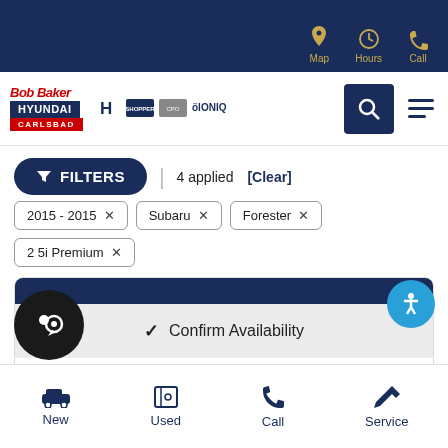Map  Hours  Call
[Figure (logo): Bob Baker Hyundai Carlsbad logo with Hyundai, Shopper, and IONIQ brand icons]
FILTERS  |  4 applied  [Clear]
2015 - 2015 ×  Subaru ×  Forester ×  2 5i Premium ×
✓ Confirm Availability
TEXT US
New  Used  Call  Service